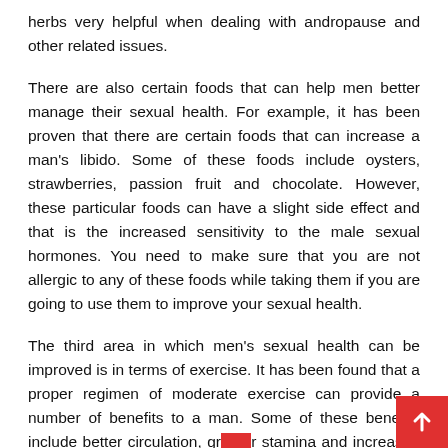herbs very helpful when dealing with andropause and other related issues.
There are also certain foods that can help men better manage their sexual health. For example, it has been proven that there are certain foods that can increase a man's libido. Some of these foods include oysters, strawberries, passion fruit and chocolate. However, these particular foods can have a slight side effect and that is the increased sensitivity to the male sexual hormones. You need to make sure that you are not allergic to any of these foods while taking them if you are going to use them to improve your sexual health.
The third area in which men's sexual health can be improved is in terms of exercise. It has been found that a proper regimen of moderate exercise can provide a number of benefits to a man. Some of these benefits include better circulation, greater stamina and increased energy. These can all play a significant...